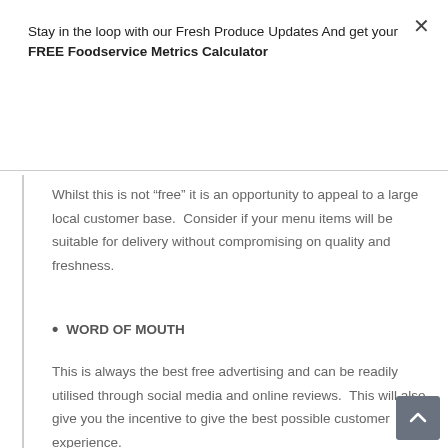Stay in the loop with our Fresh Produce Updates And get your FREE Foodservice Metrics Calculator
Yes Please!
Whilst this is not “free” it is an opportunity to appeal to a large local customer base.  Consider if your menu items will be suitable for delivery without compromising on quality and freshness.
WORD OF MOUTH
This is always the best free advertising and can be readily utilised through social media and online reviews.  This will also give you the incentive to give the best possible customer experience.